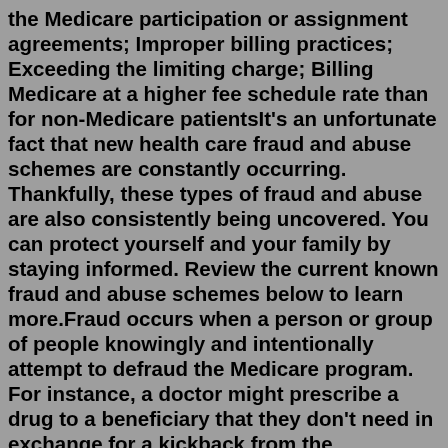the Medicare participation or assignment agreements; Improper billing practices; Exceeding the limiting charge; Billing Medicare at a higher fee schedule rate than for non-Medicare patientsIt's an unfortunate fact that new health care fraud and abuse schemes are constantly occurring. Thankfully, these types of fraud and abuse are also consistently being uncovered. You can protect yourself and your family by staying informed. Review the current known fraud and abuse schemes below to learn more.Fraud occurs when a person or group of people knowingly and intentionally attempt to defraud the Medicare program. For instance, a doctor might prescribe a drug to a beneficiary that they don't need in exchange for a kickback from the pharmaceutical manufacturer.Examples of Medicare abuse include: Billing for unnecessary medical services Charging excessively for services or supplies Misusing codes on a claim, such as upcoding or unbundling codes. Upcoding is when a provider assigns an inaccurate billing code to a claim, based on reimbursement rates.